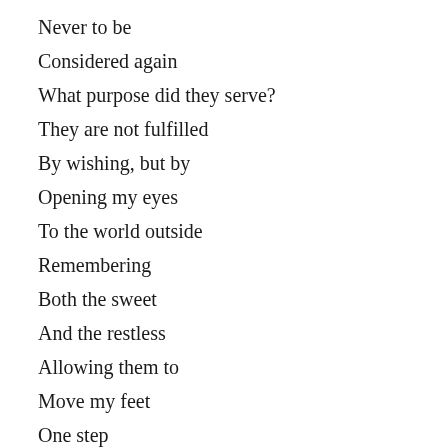Never to be
Considered again
What purpose did they serve?
They are not fulfilled
By wishing, but by
Opening my eyes
To the world outside
Remembering
Both the sweet
And the restless
Allowing them to
Move my feet
One step
Then another
Embracing action